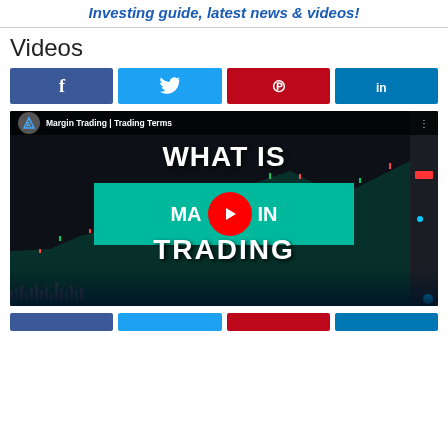Investing guide, latest news & videos!
Videos
[Figure (screenshot): Social share buttons: Facebook, Twitter, Pinterest, LinkedIn]
[Figure (screenshot): YouTube video thumbnail: 'Margin Trading | Trading Terms' with text 'WHAT IS MARGIN TRADING' on a dark trading chart background]
[Figure (screenshot): Bottom social share buttons row (partial): Facebook, Twitter, Pinterest, LinkedIn]